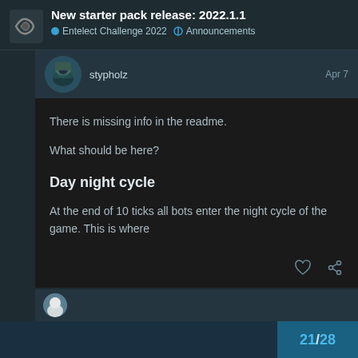New starter pack release: 2022.1.1 | Entelect Challenge 2022 | Announcements
stypholz   Apr 7
There is missing info in the readme.
What should be here?
Day night cycle
At the end of 10 ticks all bots enter the night cycle of the game. This is where
21 / 28